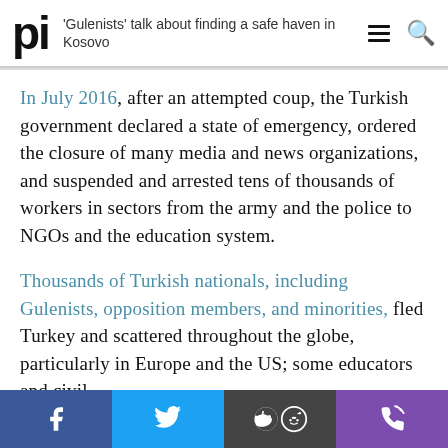'Gulenists' talk about finding a safe haven in Kosovo
In July 2016, after an attempted coup, the Turkish government declared a state of emergency, ordered the closure of many media and news organizations, and suspended and arrested tens of thousands of workers in sectors from the army and the police to NGOs and the education system.
Thousands of Turkish nationals, including Gulenists, opposition members, and minorities, fled Turkey and scattered throughout the globe, particularly in Europe and the US; some educators and civil
Share bar: Facebook, Twitter, Reddit, Phone